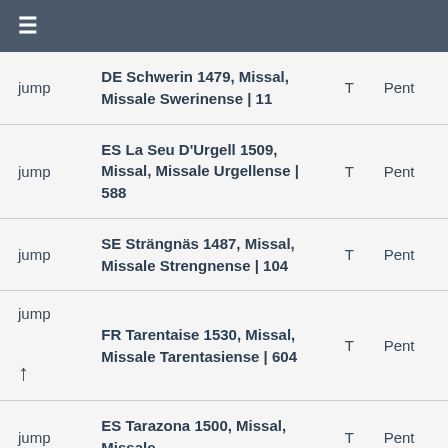≡
|  | Source | Type | Liturgy |
| --- | --- | --- | --- |
| jump | DE Schwerin 1479, Missal, Missale Swerinense | 11 | T | Pent |
| jump | ES La Seu D'Urgell 1509, Missal, Missale Urgellense | 588 | T | Pent |
| jump | SE Strängnäs 1487, Missal, Missale Strengnense | 104 | T | Pent |
| jump | FR Tarentaise 1530, Missal, Missale Tarentasiense | 604 | T | Pent |
| jump | ES Tarazona 1500, Missal, Missale... | T | Pent |